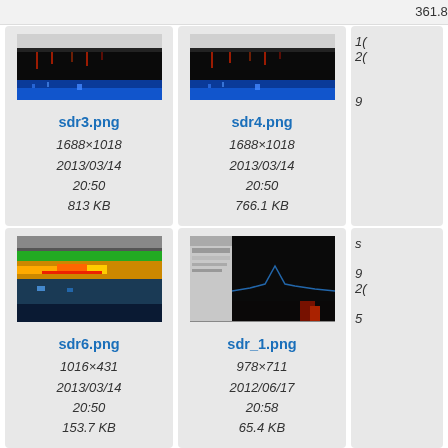361.8 KB
97.0 KB
[Figure (screenshot): Thumbnail of sdr3.png - SDR spectrum analyzer screenshot with blue waterfall display]
sdr3.png
1688×1018
2013/03/14
20:50
813 KB
[Figure (screenshot): Thumbnail of sdr4.png - SDR spectrum analyzer screenshot with blue waterfall display]
sdr4.png
1688×1018
2013/03/14
20:50
766.1 KB
[Figure (screenshot): Thumbnail of sdr6.png - SDR software screenshot with green and colorful spectrum]
sdr6.png
1016×431
2013/03/14
20:50
153.7 KB
[Figure (screenshot): Thumbnail of sdr_1.png - SDR software screenshot with dark background and spectrum]
sdr_1.png
978×711
2012/06/17
20:58
65.4 KB